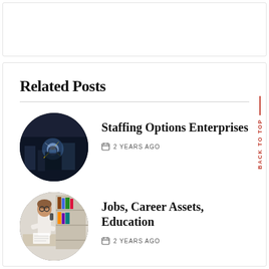[Figure (other): Empty white box at top of page]
Related Posts
[Figure (photo): Circular thumbnail of a welder working with bright arc flash in dark industrial setting]
Staffing Options Enterprises
2 YEARS AGO
[Figure (photo): Circular thumbnail of a woman with glasses sitting at desk, writing and talking on phone]
Jobs, Career Assets, Education
2 YEARS AGO